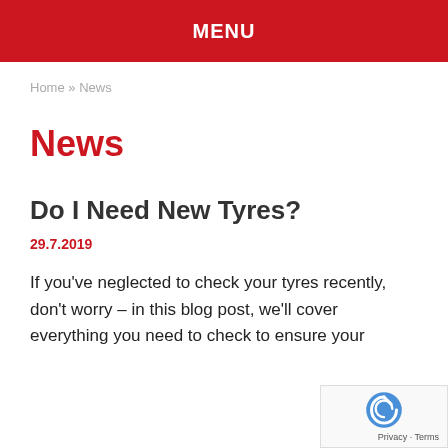MENU
Home » News
News
Do I Need New Tyres?
29.7.2019
If you've neglected to check your tyres recently, don't worry – in this blog post, we'll cover everything you need to check to ensure your